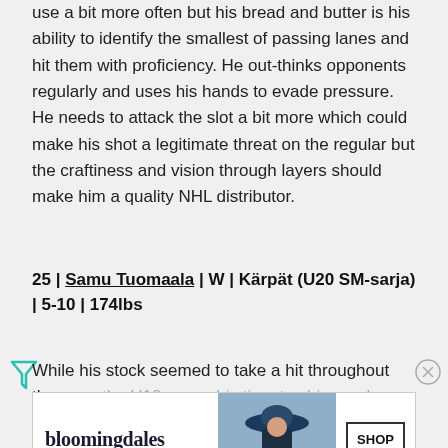use a bit more often but his bread and butter is his ability to identify the smallest of passing lanes and hit them with proficiency. He out-thinks opponents regularly and uses his hands to evade pressure. He needs to attack the slot a bit more which could make his shot a legitimate threat on the regular but the craftiness and vision through layers should make him a quality NHL distributor.
25 | Samu Tuomaala | W | Kärpät (U20 SM-sarja) | 5-10 | 174lbs
While his stock seemed to take a hit throughout the year, the U18s were his time to shine as he played hero... [ad overlay] ...the Finns were expected to be fairly...
[Figure (other): Bloomingdale's advertisement banner: 'View Today's Top Deals!' with SHOP NOW button and woman in hat image]